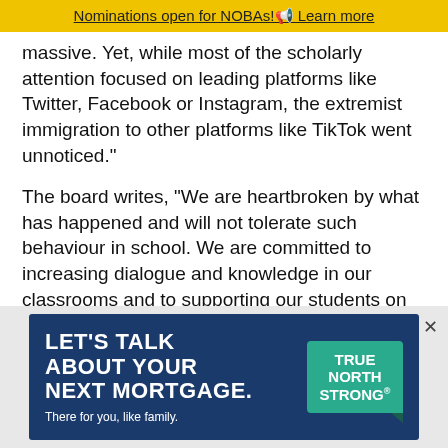Nominations open for NOBAs! Learn more
massive. Yet, while most of the scholarly attention focused on leading platforms like Twitter, Facebook or Instagram, the extremist immigration to other platforms like TikTok went unnoticed."
The board writes, "We are heartbroken by what has happened and will not tolerate such behaviour in school. We are committed to increasing dialogue and knowledge in our classrooms and to supporting our students on their journey."
And, "Welcoming others and empathy are the foundation of our educational system, and such even
[Figure (screenshot): Advertisement banner: LET'S TALK ABOUT YOUR NEXT MORTGAGE. There for you, like family. TRUE NORTH STRONG]